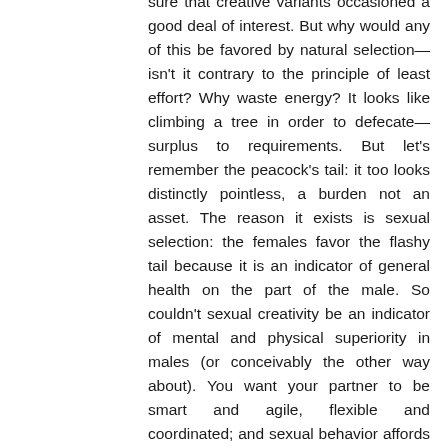sure that creative variants occasioned a good deal of interest. But why would any of this be favored by natural selection—isn't it contrary to the principle of least effort? Why waste energy? It looks like climbing a tree in order to defecate—surplus to requirements. But let's remember the peacock's tail: it too looks distinctly pointless, a burden not an asset. The reason it exists is sexual selection: the females favor the flashy tail because it is an indicator of general health on the part of the male. So couldn't sexual creativity be an indicator of mental and physical superiority in males (or conceivably the other way about). You want your partner to be smart and agile, flexible and coordinated; and sexual behavior affords solid evidence of these desirable traits. The sexually creative are likely to be creative in other ways